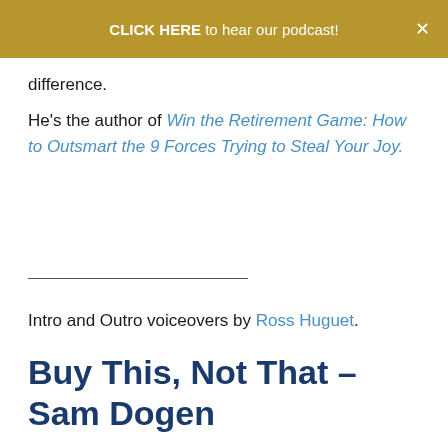CLICK HERE to hear our podcast! ×
difference.
He's the author of Win the Retirement Game: How to Outsmart the 9 Forces Trying to Steal Your Joy.
Intro and Outro voiceovers by Ross Huguet.
Buy This, Not That – Sam Dogen